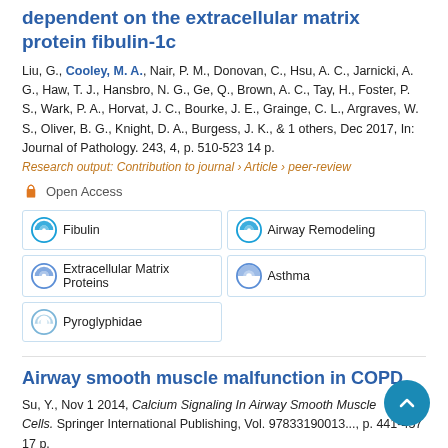dependent on the extracellular matrix protein fibulin-1c
Liu, G., Cooley, M. A., Nair, P. M., Donovan, C., Hsu, A. C., Jarnicki, A. G., Haw, T. J., Hansbro, N. G., Ge, Q., Brown, A. C., Tay, H., Foster, P. S., Wark, P. A., Horvat, J. C., Bourke, J. E., Grainge, C. L., Argraves, W. S., Oliver, B. G., Knight, D. A., Burgess, J. K., & 1 others, Dec 2017, In: Journal of Pathology. 243, 4, p. 510-523 14 p.
Research output: Contribution to journal › Article › peer-review
Open Access
Fibulin
Airway Remodeling
Extracellular Matrix Proteins
Asthma
Pyroglyphidae
Airway smooth muscle malfunction in COPD
Su, Y., Nov 1 2014, Calcium Signaling In Airway Smooth Muscle Cells. Springer International Publishing, Vol. 9783319013..., p. 441-457 17 p.